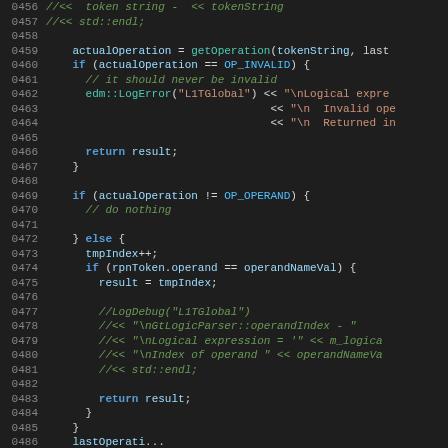[Figure (screenshot): Source code editor showing C++ code lines 0456–0485, dark theme with syntax highlighting. Code shows logic for getOperation, if/else blocks checking actualOperation against OP_INVALID and OP_OPERAND, error logging, and return statements.]